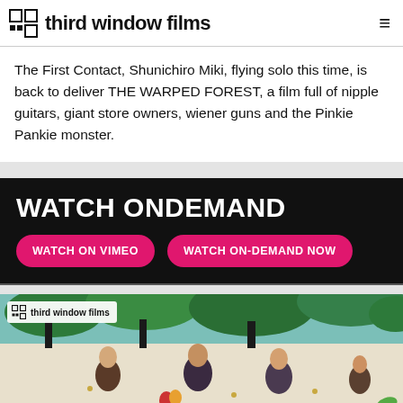third window films
The First Contact, Shunichiro Miki, flying solo this time, is back to deliver THE WARPED FOREST, a film full of nipple guitars, giant store owners, wiener guns and the Pinkie Pankie monster.
WATCH ONDEMAND
WATCH ON VIMEO | WATCH ON-DEMAND NOW
[Figure (screenshot): Video thumbnail showing people upside down in a forest scene with Third Window Films logo overlay in upper left corner]